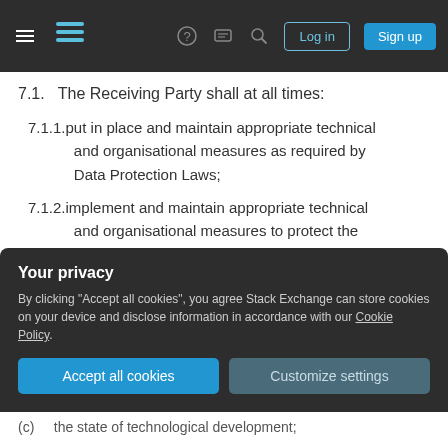Stack Exchange navigation bar with hamburger menu, logo, help, chat, search icons, Log in and Sign up buttons
7.1. The Receiving Party shall at all times:
7.1.1. put in place and maintain appropriate technical and organisational measures as required by Data Protection Laws;
7.1.2. implement and maintain appropriate technical and organisational measures to protect the Received Personal Data in its possession or control against accidental, unauthorised or unlawful destruction, loss, alteration, disclosure
Your privacy
By clicking "Accept all cookies", you agree Stack Exchange can store cookies on your device and disclose information in accordance with our Cookie Policy.
Accept all cookies   Customize settings
(c)   the state of technological development;